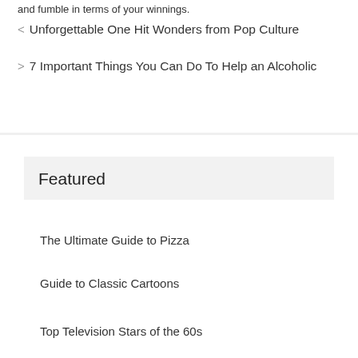and fumble in terms of your winnings.
< Unforgettable One Hit Wonders from Pop Culture
> 7 Important Things You Can Do To Help an Alcoholic
Featured
The Ultimate Guide to Pizza
Guide to Classic Cartoons
Top Television Stars of the 60s